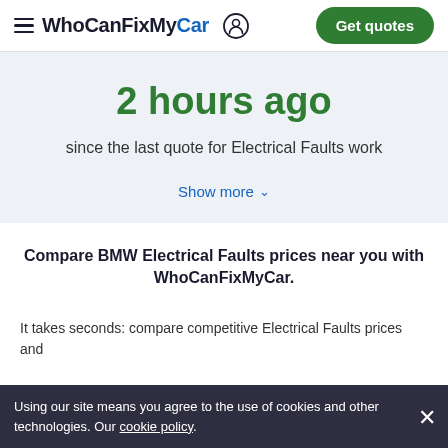WhoCanFixMyCar  Get quotes
2 hours ago
since the last quote for Electrical Faults work
Show more
Compare BMW Electrical Faults prices near you with WhoCanFixMyCar.
It takes seconds: compare competitive Electrical Faults prices and
Using our site means you agree to the use of cookies and other technologies. Our cookie policy.